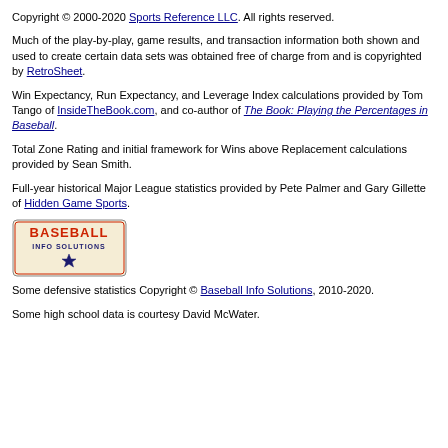Copyright © 2000-2020 Sports Reference LLC. All rights reserved.
Much of the play-by-play, game results, and transaction information both shown and used to create certain data sets was obtained free of charge from and is copyrighted by RetroSheet.
Win Expectancy, Run Expectancy, and Leverage Index calculations provided by Tom Tango of InsideTheBook.com, and co-author of The Book: Playing the Percentages in Baseball.
Total Zone Rating and initial framework for Wins above Replacement calculations provided by Sean Smith.
Full-year historical Major League statistics provided by Pete Palmer and Gary Gillette of Hidden Game Sports.
[Figure (logo): Baseball Info Solutions logo]
Some defensive statistics Copyright © Baseball Info Solutions, 2010-2020.
Some high school data is courtesy David McWater.